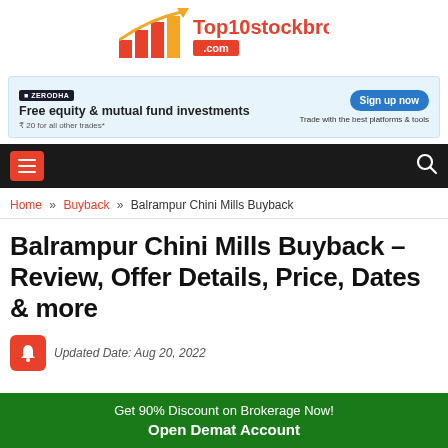[Figure (logo): Top10stockbroker.com logo with bar chart icon in orange/gold and red colors]
[Figure (infographic): Zerodha advertisement banner: Free equity & mutual fund investments, ₹20 for all other trades*, Sign up now button, Trade with the best platforms & tools]
[Figure (infographic): Black navigation bar with orange hamburger menu icon on left and search icon on right]
Home » Buyback » Balrampur Chini Mills Buyback
Balrampur Chini Mills Buyback – Review, Offer Details, Price, Dates & more
Updated Date: Aug 20, 2022
Get 90% Discount on Brokerage Now! Open Demat Account